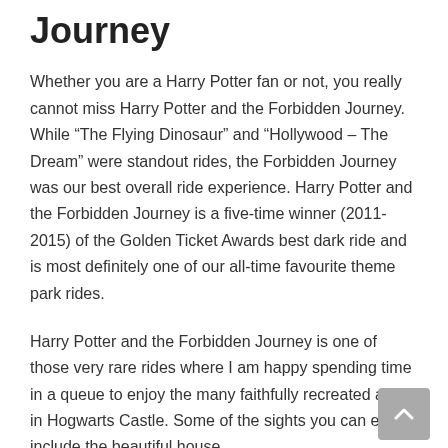Journey
Whether you are a Harry Potter fan or not, you really cannot miss Harry Potter and the Forbidden Journey. While “The Flying Dinosaur” and “Hollywood – The Dream” were standout rides, the Forbidden Journey was our best overall ride experience. Harry Potter and the Forbidden Journey is a five-time winner (2011-2015) of the Golden Ticket Awards best dark ride and is most definitely one of our all-time favourite theme park rides.
Harry Potter and the Forbidden Journey is one of those very rare rides where I am happy spending time in a queue to enjoy the many faithfully recreated areas in Hogwarts Castle. Some of the sights you can enjoy include the beautiful house